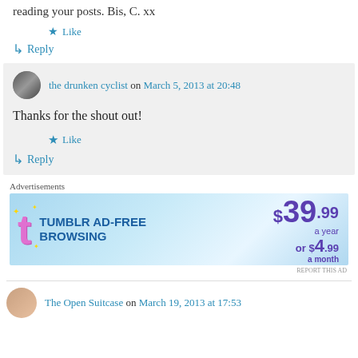reading your posts. Bis, C. xx
★ Like
↳ Reply
the drunken cyclist on March 5, 2013 at 20:48
Thanks for the shout out!
★ Like
↳ Reply
Advertisements
[Figure (other): Tumblr Ad-Free Browsing advertisement banner showing $39.99 a year or $4.99 a month]
REPORT THIS AD
The Open Suitcase on March 19, 2013 at 17:53